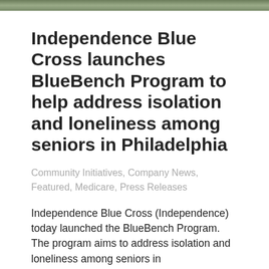[Figure (photo): Partial photo strip at the top of the page showing an outdoor scene with greenery/nature]
Independence Blue Cross launches BlueBench Program to help address isolation and loneliness among seniors in Philadelphia
Community Initiatives, Company News, Featured, Medicare, Press Releases
Independence Blue Cross (Independence) today launched the BlueBench Program. The program aims to address isolation and loneliness among seniors in